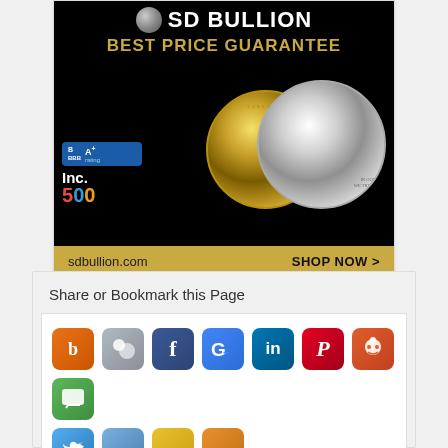[Figure (advertisement): SD Bullion advertisement with black background, gold and silver coins, BBB A+ rating badge, Inc. 500 badge, 'BEST PRICE GUARANTEE' text, gold bottom bar with sdbullion.com and SHOP NOW >]
Buy gold and silver bullion online!
Share or Bookmark this Page
[Figure (infographic): Row of social media sharing icons: Blogger, MySpace, Facebook, Google+, LinkedIn, Pinterest, Reddit, Green chat icon, and partial second row with Twitter, blue icon, yellow icon, orange icon]